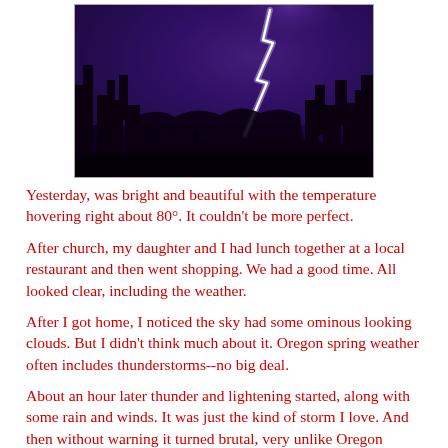[Figure (photo): Night-time lightning strike photo: bright white lightning bolt against a purple-blue sky, with dark silhouettes of trees in the foreground.]
Yesterday, was bright and beautiful with the temperature hovering right about 80°. It couldn't be more perfect.
After church, my daughter and I had lunch together at a local restaurant and then went shopping. We had a good time. All looked clear, including the weather.
After I got home, I noticed the sky had some ominous looking clouds. But I didn't think much about it. Oregon spring weather often includes thunderstorms--no big deal.
About an hour later thunder and lightening started, along with some rain and winds. It was just the kind of storm I love. And then without warning it turned brutal, very unlike Oregon spring storms. Winds blasted us. Rain came in a deluge.